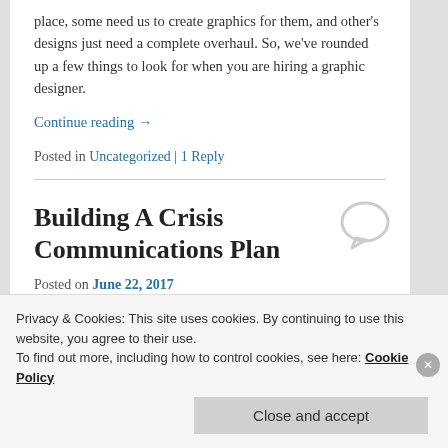place, some need us to create graphics for them, and other's designs just need a complete overhaul. So, we've rounded up a few things to look for when you are hiring a graphic designer.
Continue reading →
Posted in Uncategorized | 1 Reply
Building A Crisis Communications Plan
Posted on June 22, 2017
Privacy & Cookies: This site uses cookies. By continuing to use this website, you agree to their use.
To find out more, including how to control cookies, see here: Cookie Policy
Close and accept